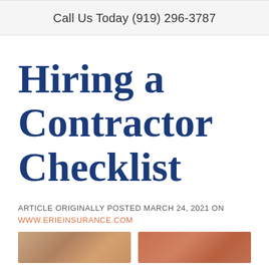Call Us Today (919) 296-3787
Hiring a Contractor Checklist
ARTICLE ORIGINALLY POSTED MARCH 24, 2021 ON WWW.ERIEINSURANCE.COM
[Figure (photo): Two small photo thumbnails at the bottom of the page showing people/contractor-related imagery]